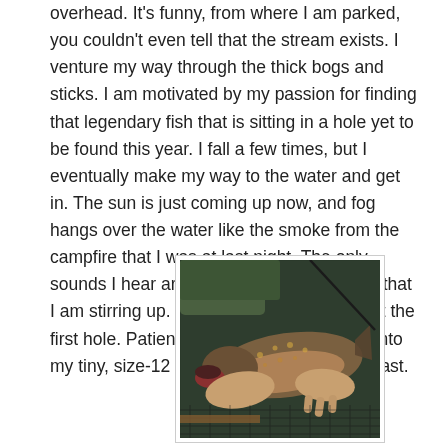overhead. It's funny, from where I am parked, you couldn't even tell that the stream exists. I venture my way through the thick bogs and sticks. I am motivated by my passion for finding that legendary fish that is sitting in a hole yet to be found this year. I fall a few times, but I eventually make my way to the water and get in. The sun is just coming up now, and fog hangs over the water like the smoke from the campfire that I was at last night. The only sounds I hear are the doves and the water that I am stirring up. I round the corner and spot the first hole. Patiently, I string the leaf worm onto my tiny, size-12 hook. I breathe in…and I cast.
[Figure (photo): A person holding a brook trout fish over a fishing net, close-up photograph showing the fish's spotted scales and the angler's hands]